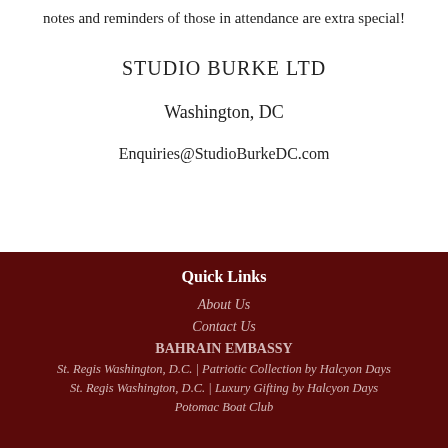notes and reminders of those in attendance are extra special!
STUDIO BURKE LTD
Washington, DC
Enquiries@StudioBurkeDC.com
Quick Links
About Us
Contact Us
BAHRAIN EMBASSY
St. Regis Washington, D.C. | Patriotic Collection by Halcyon Days
St. Regis Washington, D.C. | Luxury Gifting by Halcyon Days
Potomac Boat Club